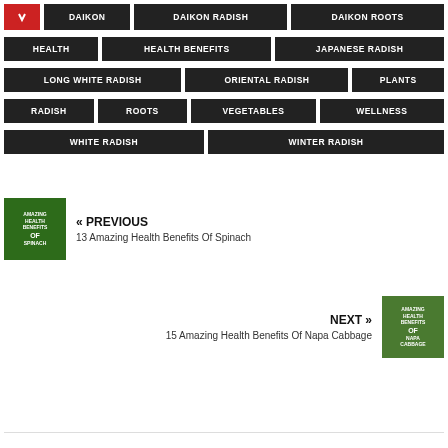DAIKON
DAIKON RADISH
DAIKON ROOTS
HEALTH
HEALTH BENEFITS
JAPANESE RADISH
LONG WHITE RADISH
ORIENTAL RADISH
PLANTS
RADISH
ROOTS
VEGETABLES
WELLNESS
WHITE RADISH
WINTER RADISH
« PREVIOUS
13 Amazing Health Benefits Of Spinach
NEXT »
15 Amazing Health Benefits Of Napa Cabbage